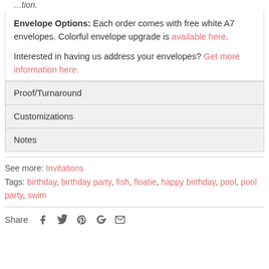Envelope Options: Each order comes with free white A7 envelopes. Colorful envelope upgrade is available here.
Interested in having us address your envelopes? Get more information here.
Proof/Turnaround
Customizations
Notes
See more: Invitations
Tags: birthday, birthday party, fish, floatie, happy birthday, pool, pool party, swim
Share